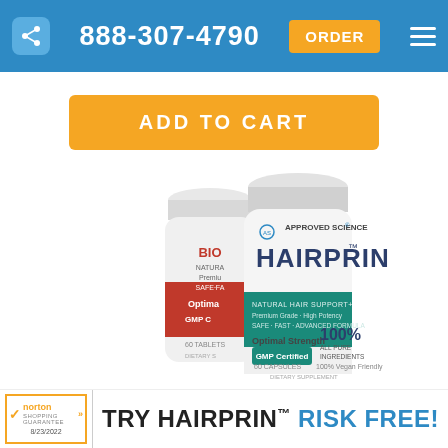888-307-4790  ORDER
ADD TO CART
[Figure (photo): Two supplement bottles: Hairprin by Approved Science (front, white bottle with teal label) and Biotin supplement (back, with red label). Both show 60 capsules/tablets, GMP Certified, Optimal Strength, 100% All Pure Ingredients, Natural Hair Support.]
TRY HAIRPRIN™ RISK FREE!